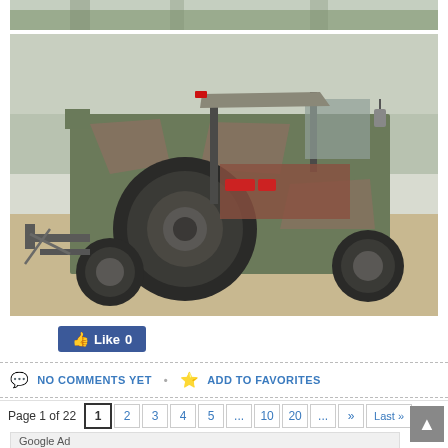[Figure (photo): Partial top view of a military jeep or similar vehicle, showing the top portion against a gray background]
[Figure (photo): A camouflage-painted military jeep (M151 or similar) photographed from the rear-left angle, showing large spare tire, open cab with rollbar, and camouflage paint pattern. Vehicle is parked on dry grass with trees in background.]
👍 Like 0
NO COMMENTS YET • ADD TO FAVORITES
Page 1 of 22  1  2  3  4  5  ...  10  20  ...  »  Last »
Google Ad